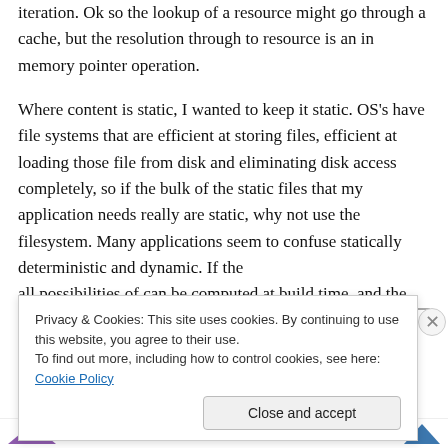iteration. Ok so the lookup of a resource might go through a cache, but the resolution through to resource is an in memory pointer operation.
Where content is static, I wanted to keep it static. OS's have file systems that are efficient at storing files, efficient at loading those file from disk and eliminating disk access completely, so if the bulk of the static files that my application needs really are static, why not use the filesystem. Many applications seem to confuse statically deterministic and dynamic. If the all possibilities of can be computed at build time, and the
Privacy & Cookies: This site uses cookies. By continuing to use this website, you agree to their use.
To find out more, including how to control cookies, see here: Cookie Policy
Close and accept